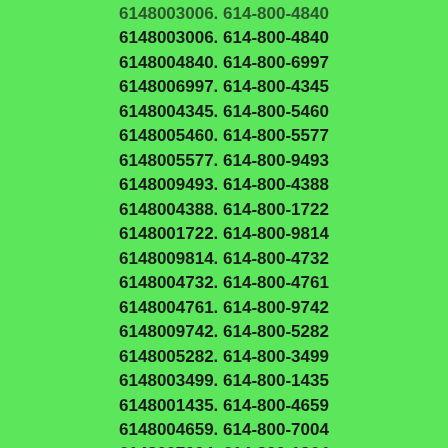6148003006. 614-800-4840
6148004840. 614-800-6997
6148006997. 614-800-4345
6148004345. 614-800-5460
6148005460. 614-800-5577
6148005577. 614-800-9493
6148009493. 614-800-4388
6148004388. 614-800-1722
6148001722. 614-800-9814
6148009814. 614-800-4732
6148004732. 614-800-4761
6148004761. 614-800-9742
6148009742. 614-800-5282
6148005282. 614-800-3499
6148003499. 614-800-1435
6148001435. 614-800-4659
6148004659. 614-800-7004
6148007004. 614-800-1864
6148001864. 614-800-7359
6148007359. 614-800-2986
6148002986. 614-800-2384
6148002384. 614-800-5736
6148005736. 614-800-5205
6148005205. 614-800-7150
6148007150. 614-800-0216